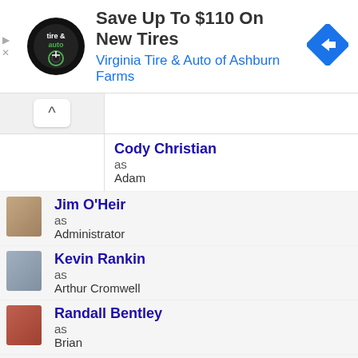[Figure (infographic): Advertisement banner: Virginia Tire & Auto of Ashburn Farms - Save Up To $110 On New Tires]
Cody Christian as Adam
Jim O'Heir as Administrator
Kevin Rankin as Arthur Cromwell
Randall Bentley as Brian
Indigo as Charisma
Loren Lester as ...